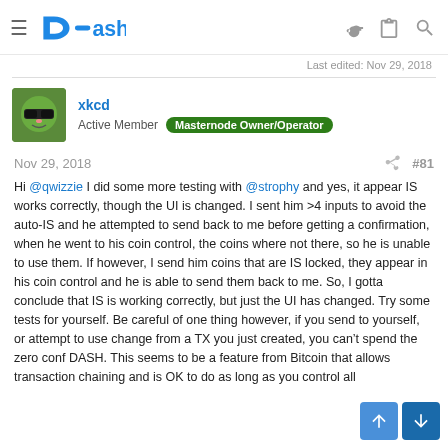Dash
Last edited: Nov 29, 2018
xkcd
Active Member  Masternode Owner/Operator
Nov 29, 2018  #81
Hi @qwizzie I did some more testing with @strophy and yes, it appear IS works correctly, though the UI is changed. I sent him >4 inputs to avoid the auto-IS and he attempted to send back to me before getting a confirmation, when he went to his coin control, the coins where not there, so he is unable to use them. If however, I send him coins that are IS locked, they appear in his coin control and he is able to send them back to me. So, I gotta conclude that IS is working correctly, but just the UI has changed. Try some tests for yourself. Be careful of one thing however, if you send to yourself, or attempt to use change from a TX you just created, you can't spend the zero conf DASH. This seems to be a feature from Bitcoin that allows transaction chaining and is OK to do as long as you control all